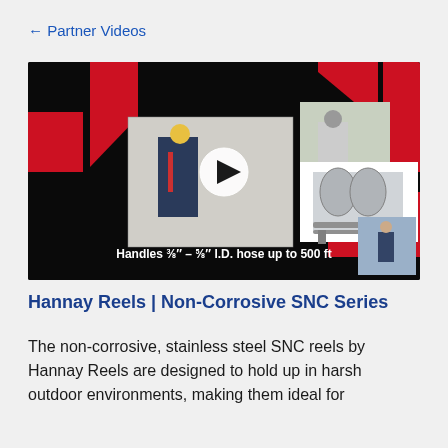← Partner Videos
[Figure (screenshot): Video thumbnail for Hannay Reels Non-Corrosive SNC Series. Dark background with red geometric shapes. Shows photos of workers using hose reels and a stainless steel hose reel product. Play button in center. Text reads: Handles 3/8" - 5/8" I.D. hose up to 500 ft]
Hannay Reels | Non-Corrosive SNC Series
The non-corrosive, stainless steel SNC reels by Hannay Reels are designed to hold up in harsh outdoor environments, making them ideal for